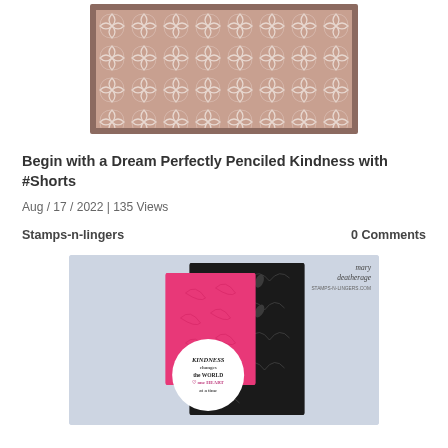[Figure (photo): Top portion of a handmade greeting card with a pink/mauve background featuring a white quatrefoil lattice pattern, framed with a darker mauve border.]
Begin with a Dream Perfectly Penciled Kindness with #Shorts
Aug / 17 / 2022 | 135 Views
Stamps-n-lingers
0 Comments
[Figure (photo): A handmade greeting card featuring a dark floral background card, a pink embossed layer, a white circle with text reading 'KINDNESS changes the WORLD one HEART at a time', and a watermark for mary deatherage stamps-n-lingers.com.]